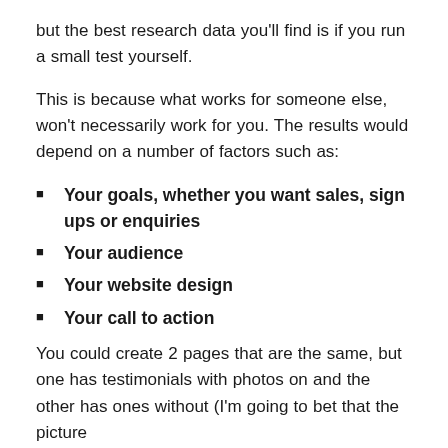but the best research data you'll find is if you run a small test yourself.
This is because what works for someone else, won't necessarily work for you. The results would depend on a number of factors such as:
Your goals, whether you want sales, sign ups or enquiries
Your audience
Your website design
Your call to action
You could create 2 pages that are the same, but one has testimonials with photos on and the other has ones without (I'm going to bet that the picture